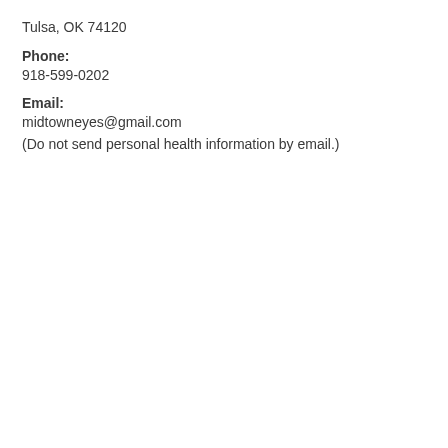Tulsa, OK 74120
Phone:
918-599-0202
Email:
midtowneyes@gmail.com
(Do not send personal health information by email.)